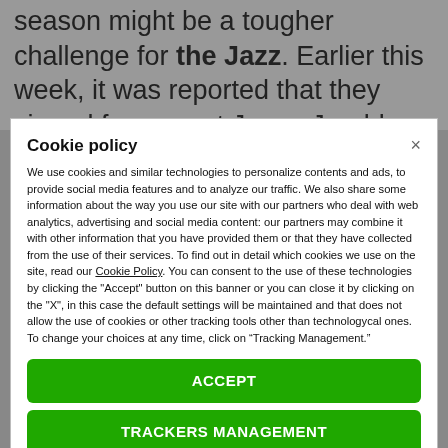season might be a tougher challenge for the Jazz. Earlier this week, it was reported that they signed free-agent Jonas Jerebko, and on Thursday, it was
Cookie policy
We use cookies and similar technologies to personalize contents and ads, to provide social media features and to analyze our traffic. We also share some information about the way you use our site with our partners who deal with web analytics, advertising and social media content: our partners may combine it with other information that you have provided them or that they have collected from the use of their services. To find out in detail which cookies we use on the site, read our Cookie Policy. You can consent to the use of these technologies by clicking the "Accept" button on this banner or you can close it by clicking on the "X", in this case the default settings will be maintained and that does not allow the use of cookies or other tracking tools other than technologycal ones. To change your choices at any time, click on “Tracking Management.”
ACCEPT
TRACKERS MANAGEMENT
Show vendors | Show purposes